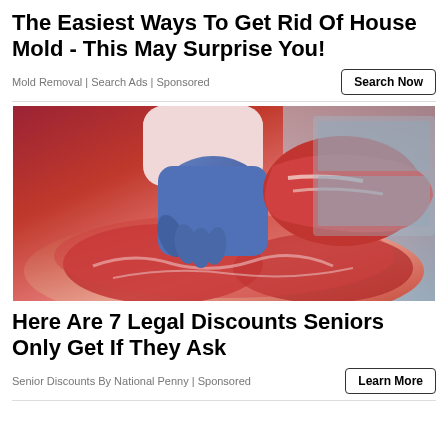The Easiest Ways To Get Rid Of House Mold - This May Surprise You!
Mold Removal | Search Ads | Sponsored
[Figure (photo): A butcher with blue gloves handling a large cut of raw red meat at a deli counter with more cuts of meat in the background.]
Here Are 7 Legal Discounts Seniors Only Get If They Ask
Senior Discounts By National Penny | Sponsored